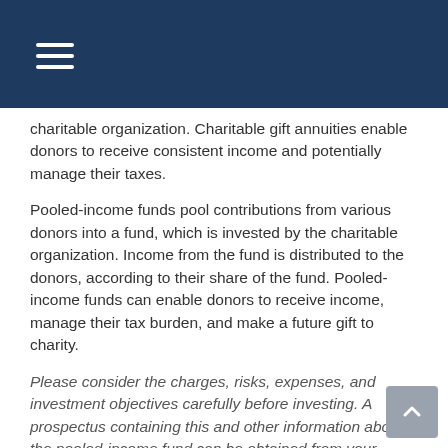charitable organization. Charitable gift annuities enable donors to receive consistent income and potentially manage their taxes.
Pooled-income funds pool contributions from various donors into a fund, which is invested by the charitable organization. Income from the fund is distributed to the donors, according to their share of the fund. Pooled-income funds can enable donors to receive income, manage their tax burden, and make a future gift to charity.
Please consider the charges, risks, expenses, and investment objectives carefully before investing. A prospectus containing this and other information about the pooled-income fund can be obtained from your financial professional. Read it carefully before you invest or send money.